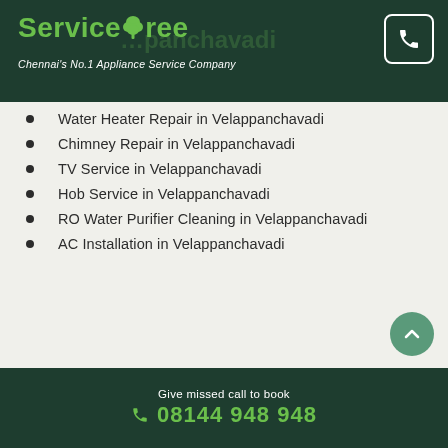ServiceTree — Chennai's No.1 Appliance Service Company
Water Heater Repair in Velappanchavadi
Chimney Repair in Velappanchavadi
TV Service in Velappanchavadi
Hob Service in Velappanchavadi
RO Water Purifier Cleaning in Velappanchavadi
AC Installation in Velappanchavadi
Give missed call to book 08144 948 948